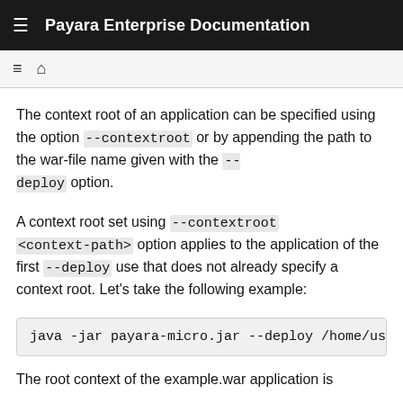Payara Enterprise Documentation
The context root of an application can be specified using the option --contextroot or by appending the path to the war-file name given with the --deploy option.
A context root set using --contextroot <context-path> option applies to the application of the first --deploy use that does not already specify a context root. Let’s take the following example:
java -jar payara-micro.jar --deploy /home/use
The root context of the example.war application is